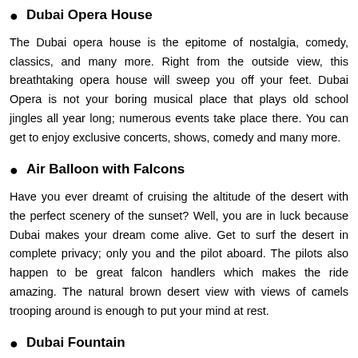Dubai Opera House
The Dubai opera house is the epitome of nostalgia, comedy, classics, and many more. Right from the outside view, this breathtaking opera house will sweep you off your feet. Dubai Opera is not your boring musical place that plays old school jingles all year long; numerous events take place there. You can get to enjoy exclusive concerts, shows, comedy and many more.
Air Balloon with Falcons
Have you ever dreamt of cruising the altitude of the desert with the perfect scenery of the sunset? Well, you are in luck because Dubai makes your dream come alive. Get to surf the desert in complete privacy; only you and the pilot aboard. The pilots also happen to be great falcon handlers which makes the ride amazing. The natural brown desert view with views of camels trooping around is enough to put your mind at rest.
Dubai Fountain
Fountains are normal views in every other part of the world, but not in Dubai. This city houses the tallest fountain in the world which can shoot as high as 500 feet. Experience first-hand fountain shows every